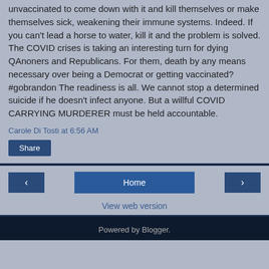unvaccinated to come down with it and kill themselves or make themselves sick, weakening their immune systems. Indeed. If you can't lead a horse to water, kill it and the problem is solved. The COVID crises is taking an interesting turn for dying QAnoners and Republicans. For them, death by any means necessary over being a Democrat or getting vaccinated? #gobrandon The readiness is all. We cannot stop a determined suicide if he doesn't infect anyone. But a willful COVID CARRYING MURDERER must be held accountable.
Carole Di Tosti at 6:56 AM
Share
Home
View web version
Powered by Blogger.